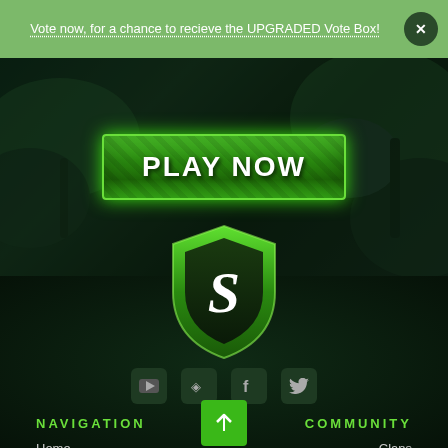Vote now, for a chance to recieve the UPGRADED Vote Box!
[Figure (screenshot): Gaming website hero section with dark green background and PLAY NOW button]
[Figure (logo): Green shield logo with white letter S]
[Figure (infographic): Social media icons row: YouTube, Discord, Facebook, Twitter]
NAVIGATION
COMMUNITY
Home
Clans